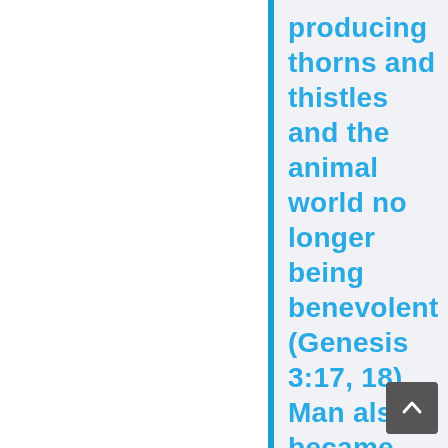producing thorns and thistles and the animal world no longer being benevolent (Genesis 3:17, 18). Man also became separated from